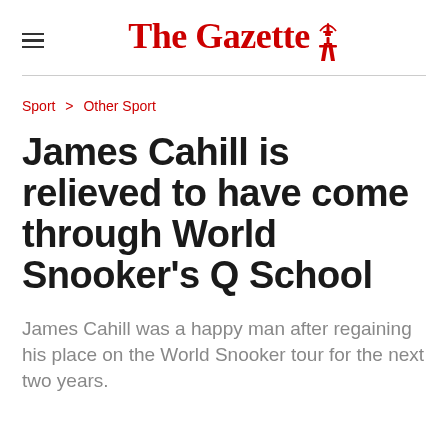The Gazette
Sport > Other Sport
James Cahill is relieved to have come through World Snooker's Q School
James Cahill was a happy man after regaining his place on the World Snooker tour for the next two years.